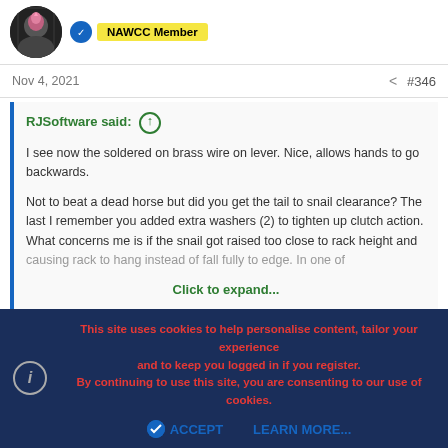[Figure (photo): User avatar circular photo and NAWCC Member badge with blue icon]
Nov 4, 2021   < #346
RJSoftware said: ↑

I see now the soldered on brass wire on lever. Nice, allows hands to go backwards.

Not to beat a dead horse but did you get the tail to snail clearance? The last I remember you added extra washers (2) to tighten up clutch action. What concerns me is if the snail got raised too close to rack height and causing rack to hang instead of fall fully to edge. In one of

Click to expand...
This site uses cookies to help personalise content, tailor your experience and to keep you logged in if you register.
By continuing to use this site, you are consenting to our use of cookies.
ACCEPT   LEARN MORE...